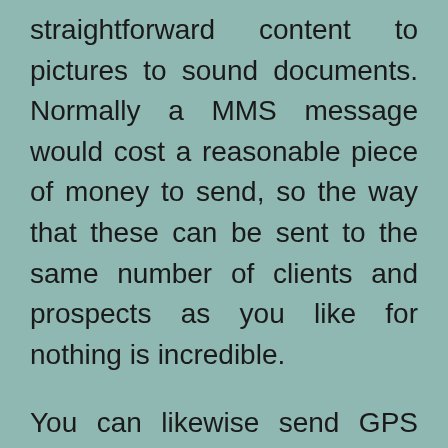straightforward content to pictures to sound documents. Normally a MMS message would cost a reasonable piece of money to send, so the way that these can be sent to the same number of clients and prospects as you like for nothing is incredible.
You can likewise send GPS area of your stores! Item recordings, Product pictures and sound messages a short close to home message from your CEO could be sent to numerous customers and possibilities at one go! This awesome App bolsters simply everything. You can begin your own WhatsApp